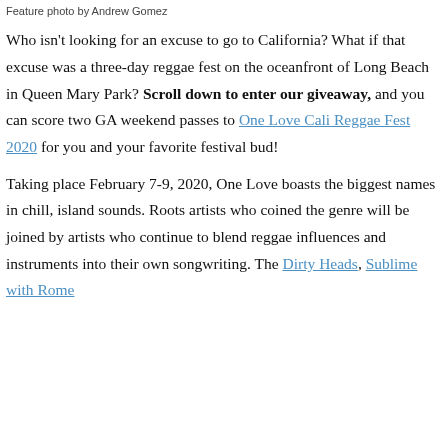Feature photo by Andrew Gomez
Who isn't looking for an excuse to go to California? What if that excuse was a three-day reggae fest on the oceanfront of Long Beach in Queen Mary Park? Scroll down to enter our giveaway, and you can score two GA weekend passes to One Love Cali Reggae Fest 2020 for you and your favorite festival bud!
Taking place February 7-9, 2020, One Love boasts the biggest names in chill, island sounds. Roots artists who coined the genre will be joined by artists who continue to blend reggae influences and instruments into their own songwriting. The Dirty Heads, Sublime with Rome